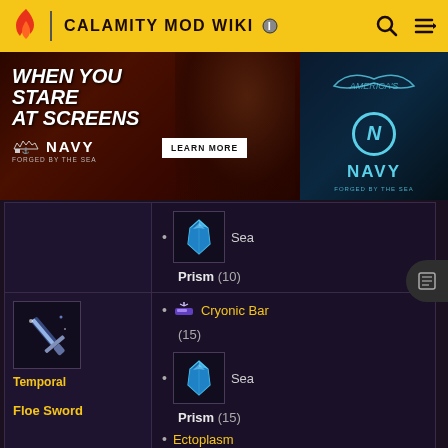CALAMITY MOD WIKI
[Figure (screenshot): America's Navy advertisement banner - 'WHEN YOU STARE AT SCREENS' with Learn More button]
| Item | Ingredients |
| --- | --- |
| (top item - partially visible) | • Sea Prism (10) |
| Temporal / Floe Sword | • Cryonic Bar (15)
• Sea Prism (15)
• Ectoplasm (5) |